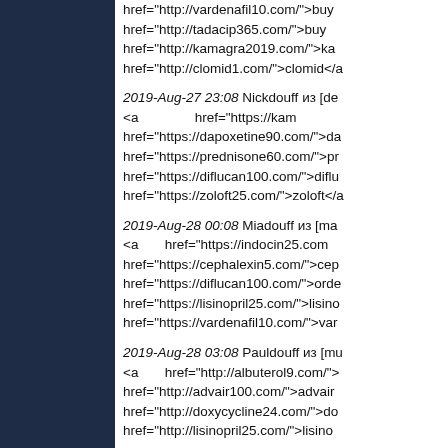href="http://vardenafil10.com/">buy href="http://tadacip365.com/">buy href="http://kamagra2019.com/">ka href="http://clomid1.com/">clomid</a
2019-Aug-27 23:08 Nickdouff из [de <a href="https://kam href="https://dapoxetine90.com/">da href="https://prednisone60.com/">pr href="https://diflucan100.com/">diflu href="https://zoloft25.com/">zoloft</a
2019-Aug-28 00:08 Miadouff из [ma <a href="https://indocin25.com href="https://cephalexin5.com/">cep href="https://diflucan100.com/">orde href="https://lisinopril25.com/">lisino href="https://vardenafil10.com/">var
2019-Aug-28 03:08 Pauldouff из [mu <a href="http://albuterol9.com/"> href="http://advair100.com/">advair href="http://doxycycline24.com/">do href="http://lisinopril25.com/">lisino